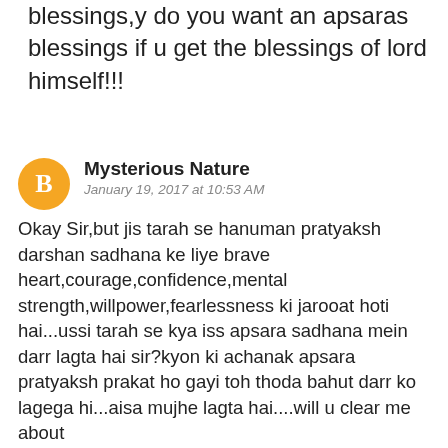blessings,y do you want an apsaras blessings if u get the blessings of lord himself!!!
Mysterious Nature
January 19, 2017 at 10:53 AM
Okay Sir,but jis tarah se hanuman pratyaksh darshan sadhana ke liye brave heart,courage,confidence,mental strength,willpower,fearlessness ki jarooat hoti hai...ussi tarah se kya iss apsara sadhana mein darr lagta hai sir?kyon ki achanak apsara pratyaksh prakat ho gayi toh thoda bahut darr ko lagega hi...aisa mujhe lagta hai....will u clear me about